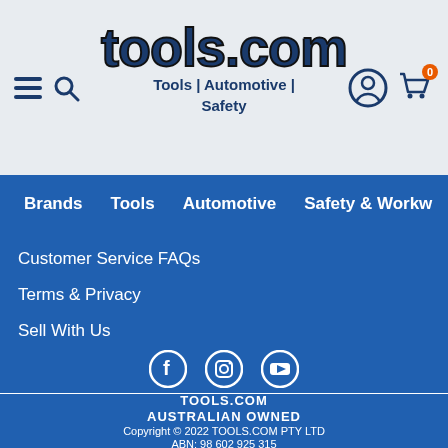[Figure (logo): tools.com logo with hamburger menu, search icon, user icon, and shopping cart with '0' badge in header]
Brands | Tools | Automotive | Safety & Workw
Customer Service FAQs
Terms & Privacy
Sell With Us
Self Service Helpdesk
[Figure (illustration): Social media icons: Facebook, Instagram, YouTube]
TOOLS.COM
AUSTRALIAN OWNED
Copyright © 2022 TOOLS.COM PTY LTD
ABN: 98 602 925 315